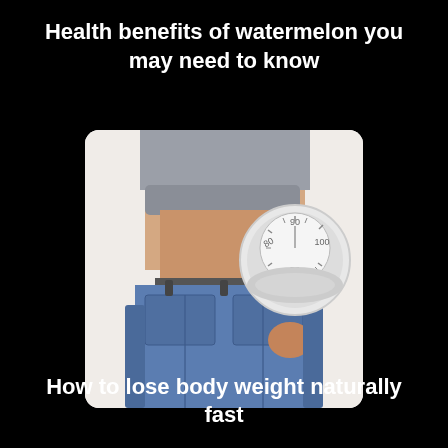Health benefits of watermelon you may need to know
[Figure (photo): Person wearing oversized jeans showing weight loss, with a bathroom scale visible in the background]
How to lose body weight naturally fast